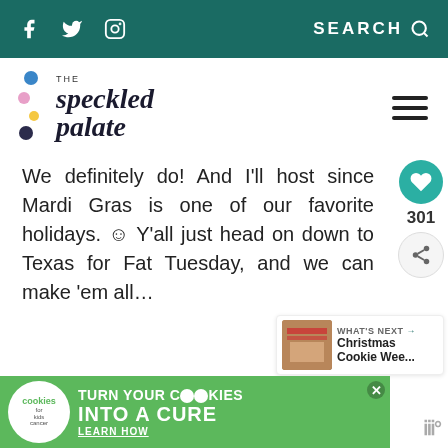f  twitter  instagram    SEARCH
[Figure (logo): The Speckled Palate logo with colorful dots and serif italic text]
We definitely do! And I'll host since Mardi Gras is one of our favorite holidays. ☺ Y'all just head on down to Texas for Fat Tuesday, and we can make 'em all…
Reply
[Figure (infographic): Green ad banner: cookies for kids cancer - turn your COOKIES into a CURE LEARN HOW]